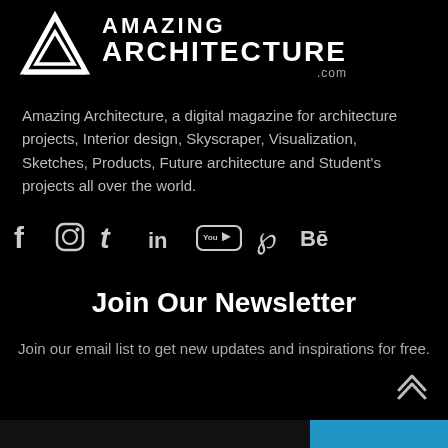[Figure (logo): Amazing Architecture logo with triangular geometric icon and text AMAZING ARCHITECTURE .com]
Amazing Architecture, a digital magazine for architecture projects, Interior design, Skyscraper, Visualization, Sketches, Products, Future architecture and Student's projects all over the world.
[Figure (infographic): Social media icons: Facebook, Instagram, Twitter, LinkedIn, YouTube, Pinterest, Behance]
Join Our Newsletter
Join our email list to get new updates and inspirations for free.